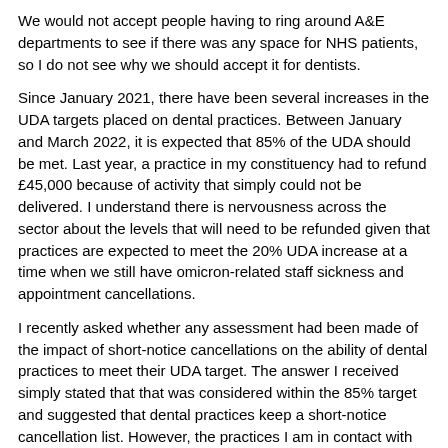We would not accept people having to ring around A&E departments to see if there was any space for NHS patients, so I do not see why we should accept it for dentists.
Since January 2021, there have been several increases in the UDA targets placed on dental practices. Between January and March 2022, it is expected that 85% of the UDA should be met. Last year, a practice in my constituency had to refund £45,000 because of activity that simply could not be delivered. I understand there is nervousness across the sector about the levels that will need to be refunded given that practices are expected to meet the 20% UDA increase at a time when we still have omicron-related staff sickness and appointment cancellations.
I recently asked whether any assessment had been made of the impact of short-notice cancellations on the ability of dental practices to meet their UDA target. The answer I received simply stated that that was considered within the 85% target and suggested that dental practices keep a short-notice cancellation list. However, the practices I am in contact with already do that and are proactive in trying to fill the slots. It seems, once again, that there is a disjuncture between what the Department says and what is happening on the ground.
Given that infection rates and community spread of covid-19 have been at their highest level in recent months, setting the target at 85% at this